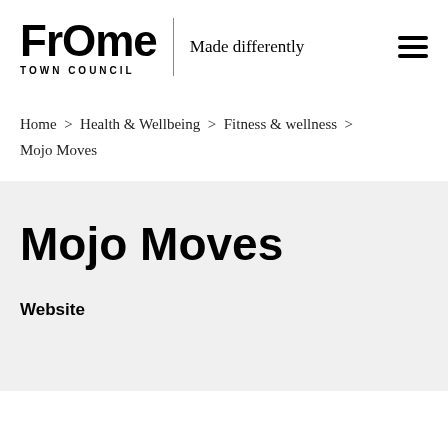[Figure (logo): Frome Town Council logo with 'FrOme' stylized text and 'TOWN COUNCIL' subtitle, vertical divider, tagline 'Made differently', and hamburger menu icon]
Home > Health & Wellbeing > Fitness & wellness > Mojo Moves
Mojo Moves
Website